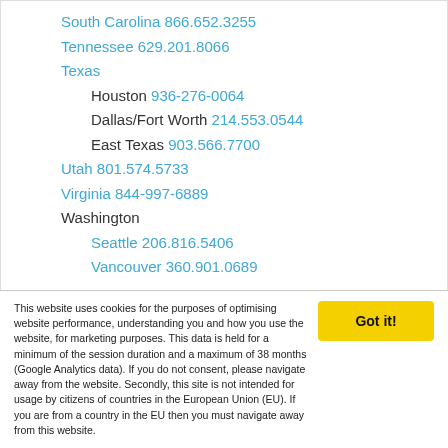South Carolina 866.652.3255
Tennessee 629.201.8066
Texas
Houston 936-276-0064
Dallas/Fort Worth 214.553.0544
East Texas 903.566.7700
Utah 801.574.5733
Virginia 844-997-6889
Washington
Seattle 206.816.5406
Vancouver 360.901.0689
All Other Locations
800.969.7434
This website uses cookies for the purposes of optimising website performance, understanding you and how you use the website, for marketing purposes. This data is held for a minimum of the session duration and a maximum of 38 months (Google Analytics data). If you do not consent, please navigate away from the website. Secondly, this site is not intended for usage by citizens of countries in the European Union (EU). If you are from a country in the EU then you must navigate away from this website.